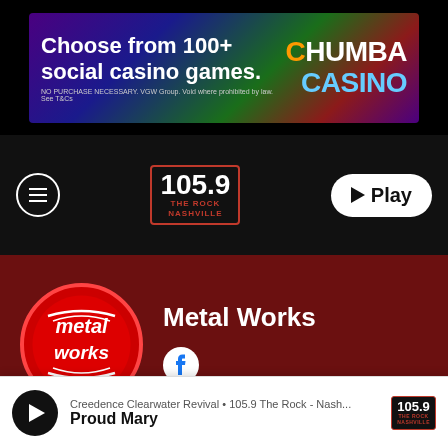[Figure (photo): Chumba Casino advertisement banner: 'Choose from 100+ social casino games.' on dark colorful background]
[Figure (logo): 105.9 The Rock Nashville radio station logo in navigation bar with Play button]
[Figure (illustration): Metal Works show header with red circular Metal Works logo and Facebook icon]
Metal Works
Playlist for 2/8/20 show
Creedence Clearwater Revival • 105.9 The Rock - Nash... Proud Mary